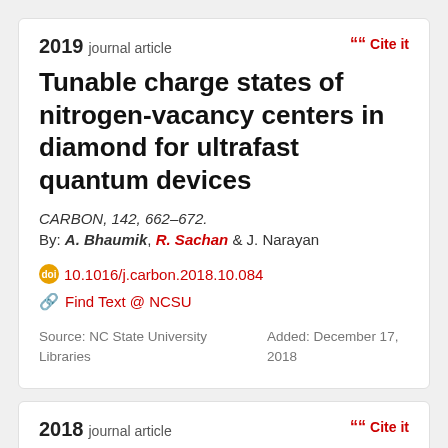2019 journal article
Cite it
Tunable charge states of nitrogen-vacancy centers in diamond for ultrafast quantum devices
CARBON, 142, 662–672.
By: A. Bhaumik, R. Sachan & J. Narayan
10.1016/j.carbon.2018.10.084
Find Text @ NCSU
Source: NC State University Libraries
Added: December 17, 2018
2018 journal article
Cite it